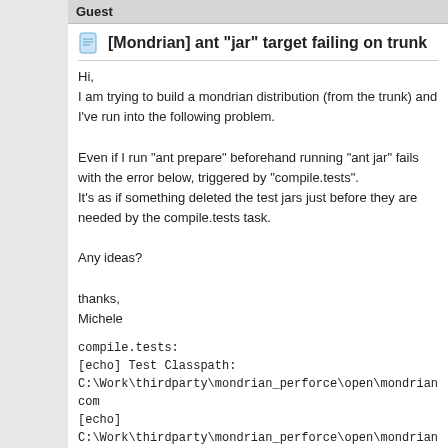Guest
[Mondrian] ant "jar" target failing on trunk
Hi,
I am trying to build a mondrian distribution (from the trunk) and I've run into the following problem.

Even if I run "ant prepare" beforehand running "ant jar" fails with the error below, triggered by "compile.tests".
It's as if something deleted the test jars just before they are needed by the compile.tests task.

Any ideas?

thanks,
Michele
compile.tests:
[echo] Test Classpath:
C:\Work\thirdparty\mondrian_perforce\open\mondrian\lib\asm-com
[echo]
C:\Work\thirdparty\mondrian_perforce\open\mondrian\lib\asm-tree.
[echo]
C:\Work\thirdparty\mondrian_perforce\open\mondrian\lib\asm-util.ja
[echo] C:\Work\thirdparty\mondrian_perforce\open\mondrian\lib\as
[echo]
C:\Work\thirdparty\mondrian_perforce\open\mondrian\lib\backno